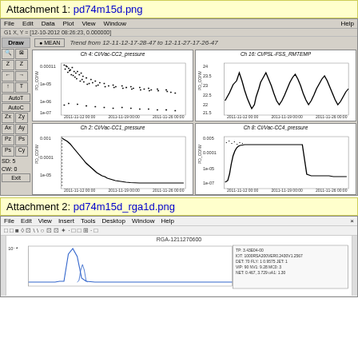Attachment 1: pd74m15d.png
[Figure (screenshot): Scientific data analysis software showing 4 trend plots: Ch4 CI/Vac-CC2_pressure (scatter/noise decreasing over time), Ch16 CI/PSL-FSS_RMTEMP (oscillating temperature signal), Ch2 CI/Vac-CC1_pressure (exponential decay curve), Ch8 CI/Vac-CC4_pressure (step function with noise). X-axes show dates from 2011-11-12 to 2011-11-27. Y-axes show PD_CONV values on logarithmic scale. Trend from 12-11-12-17-28-47 to 12-11-27-17-26-47.]
Attachment 2: pd74m15d_rga1d.png
[Figure (screenshot): RGA (Residual Gas Analyzer) data plot titled RGA-1211270600 showing mass spectrum or time-series data with a prominent spike, blue line on white background with log scale y-axis. Legend shows parameters including TP, IOT, DET, VIP, NET values.]